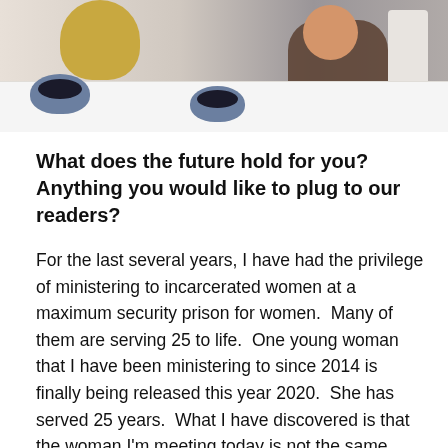[Figure (photo): Two women sitting at a white table with dark bowls, one with blonde hair on the left and one in brown clothing on the right, with a grey wall background.]
What does the future hold for you? Anything you would like to plug to our readers?
For the last several years, I have had the privilege of ministering to incarcerated women at a maximum security prison for women.  Many of them are serving 25 to life.  One young woman that I have been ministering to since 2014 is finally being released this year 2020.  She has served 25 years.  What I have discovered is that the woman I'm meeting today is not the same person that committed the crime 25 years ago.  Most of these women were in there 20's when they made wrong choices and are